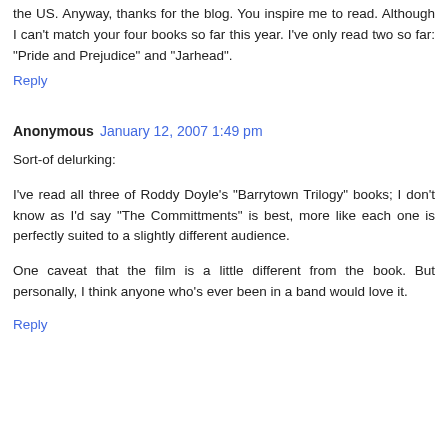the US. Anyway, thanks for the blog. You inspire me to read. Although I can't match your four books so far this year. I've only read two so far: "Pride and Prejudice" and "Jarhead".
Reply
Anonymous  January 12, 2007 1:49 pm
Sort-of delurking:
I've read all three of Roddy Doyle's "Barrytown Trilogy" books; I don't know as I'd say "The Committments" is best, more like each one is perfectly suited to a slightly different audience.
One caveat that the film is a little different from the book. But personally, I think anyone who's ever been in a band would love it.
Reply